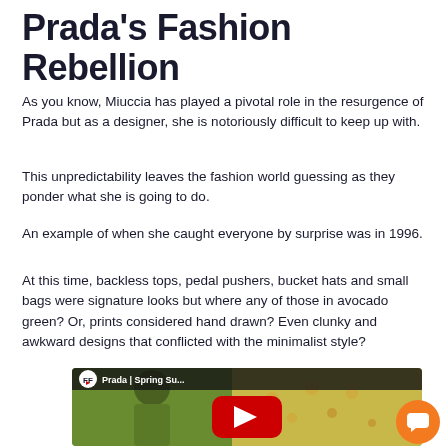Prada's Fashion Rebellion
As you know, Miuccia has played a pivotal role in the resurgence of Prada but as a designer, she is notoriously difficult to keep up with.
This unpredictability leaves the fashion world guessing as they ponder what she is going to do.
An example of when she caught everyone by surprise was in 1996.
At this time, backless tops, pedal pushers, bucket hats and small bags were signature looks but where any of those in avocado green? Or, prints considered hand drawn? Even clunky and awkward designs that conflicted with the minimalist style?
[Figure (screenshot): YouTube video thumbnail showing a fashion runway video titled 'Prada | Spring Su...' with the Fashion Finest (FF) channel logo, a red YouTube play button, and models wearing avocado green and printed outfits.]